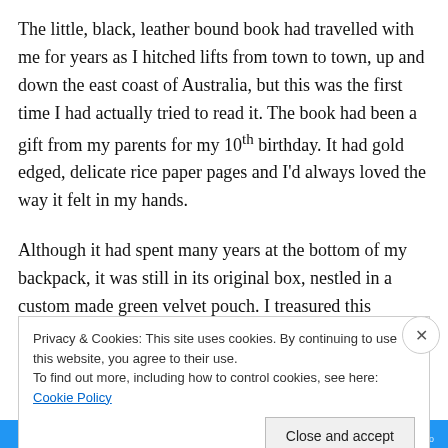The little, black, leather bound book had travelled with me for years as I hitched lifts from town to town, up and down the east coast of Australia, but this was the first time I had actually tried to read it. The book had been a gift from my parents for my 10th birthday. It had gold edged, delicate rice paper pages and I'd always loved the way it felt in my hands.
Although it had spent many years at the bottom of my backpack, it was still in its original box, nestled in a custom made green velvet pouch. I treasured this beautifully made
Privacy & Cookies: This site uses cookies. By continuing to use this website, you agree to their use.
To find out more, including how to control cookies, see here: Cookie Policy
Close and accept